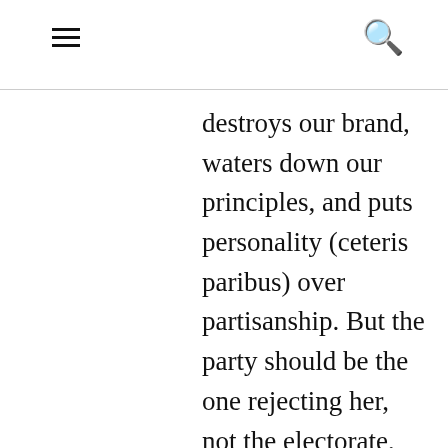≡  🔍
destroys our brand, waters down our principles, and puts personality (ceteris paribus) over partisanship. But the party should be the one rejecting her, not the electorate, it's our fault. If the dog crops in the fow…